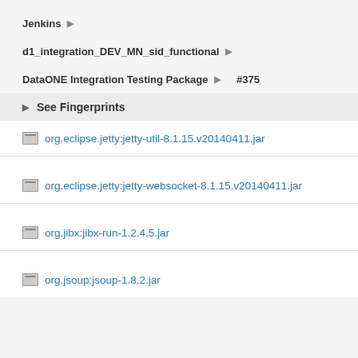Jenkins
d1_integration_DEV_MN_sid_functional
DataONE Integration Testing Package › #375
See Fingerprints
org.eclipse.jetty:jetty-util-8.1.15.v20140411.jar
org.eclipse.jetty:jetty-websocket-8.1.15.v20140411.jar
org.jibx:jibx-run-1.2.4.5.jar
org.jsoup:jsoup-1.8.2.jar